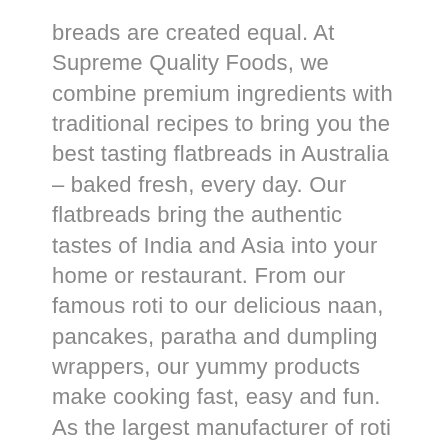breads are created equal. At Supreme Quality Foods, we combine premium ingredients with traditional recipes to bring you the best tasting flatbreads in Australia – baked fresh, every day. Our flatbreads bring the authentic tastes of India and Asia into your home or restaurant. From our famous roti to our delicious naan, pancakes, paratha and dumpling wrappers, our yummy products make cooking fast, easy and fun. As the largest manufacturer of roti in Australia, our mouth-watering breads are used in most Thai restaurants across Melbourne – plus in many other tasty eateries all around the country.
Whether you eat out or stay in, we bring